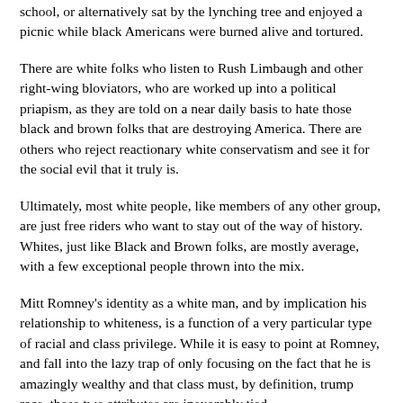school, or alternatively sat by the lynching tree and enjoyed a picnic while black Americans were burned alive and tortured.
There are white folks who listen to Rush Limbaugh and other right-wing bloviators, who are worked up into a political priapism, as they are told on a near daily basis to hate those black and brown folks that are destroying America. There are others who reject reactionary white conservatism and see it for the social evil that it truly is.
Ultimately, most white people, like members of any other group, are just free riders who want to stay out of the way of history. Whites, just like Black and Brown folks, are mostly average, with a few exceptional people thrown into the mix.
Mitt Romney's identity as a white man, and by implication his relationship to whiteness, is a function of a very particular type of racial and class privilege. While it is easy to point at Romney, and fall into the lazy trap of only focusing on the fact that he is amazingly wealthy and that class must, by definition, trump race, those two attributes are inexorably tied